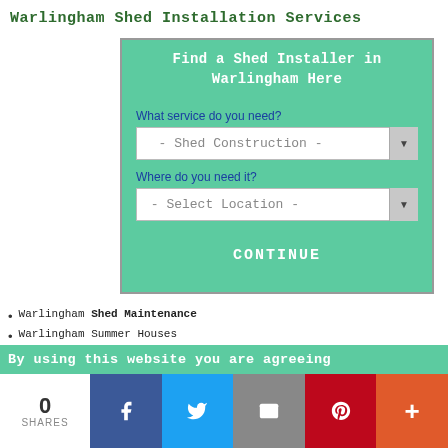Warlingham Shed Installation Services
[Figure (screenshot): Web form widget with green header 'Find a Shed Installer in Warlingham Here', two dropdown selects ('- Shed Construction -' and '- Select Location -'), and a CONTINUE button, all on a mint-green background.]
Warlingham Shed Maintenance
Warlingham Summer Houses
Warlingham Shed Repairs
Warlingham Shed Dismantling
By using this website you are agreeing
0 SHARES [Facebook] [Twitter] [Email] [Pinterest] [+]